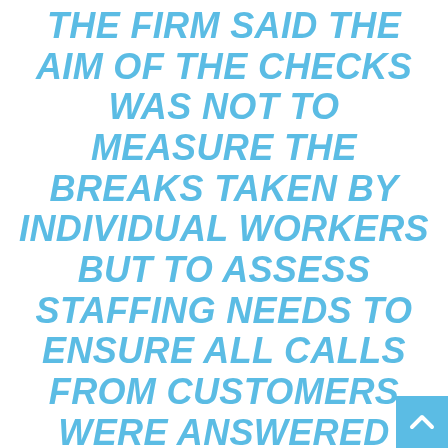THE FIRM SAID THE AIM OF THE CHECKS WAS NOT TO MEASURE THE BREAKS TAKEN BY INDIVIDUAL WORKERS BUT TO ASSESS STAFFING NEEDS TO ENSURE ALL CALLS FROM CUSTOMERS WERE ANSWERED AND IT WOULD NOW BE REVIEWING THE POLICY. IT IS THE LATEST EXAMPLE OF LAVATORY RULES IN NORWEGIAN COMPANIES. LAST YEAR THE COUNTRY'S WORKPLACE OMBUDSMAN SAID ONE FIRM WAS REPORTED FOR MAKING WOMEN WORKERS WEAR A RED BRACELET WHEN THEY...